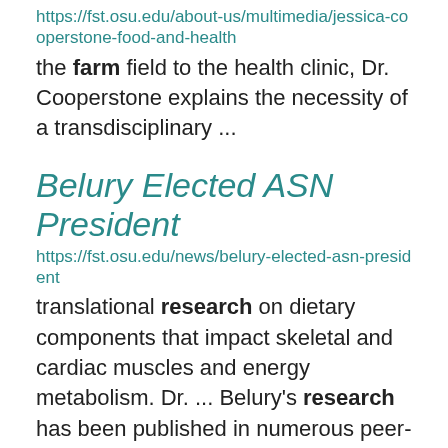https://fst.osu.edu/about-us/multimedia/jessica-cooperstone-food-and-health
the farm field to the health clinic, Dr. Cooperstone explains the necessity of a transdisciplinary ...
Belury Elected ASN President
https://fst.osu.edu/news/belury-elected-asn-president
translational research on dietary components that impact skeletal and cardiac muscles and energy metabolism. Dr. ... Belury's research has been published in numerous peer-reviewed publications, and she also interprets ... research findings to non-scientists, clinicians, and other